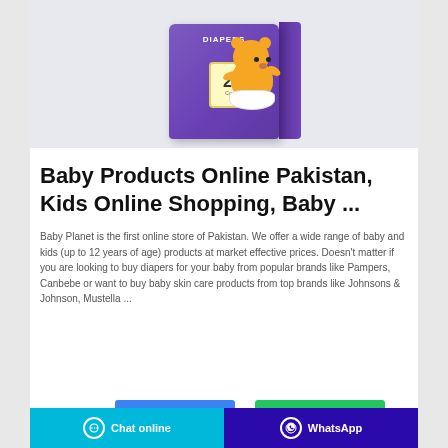[Figure (photo): Purple diaper box with cartoon bear character, showing '28' count, displayed on light grey background]
Baby Products Online Pakistan, Kids Online Shopping, Baby ...
Baby Planet is the first online store of Pakistan. We offer a wide range of baby and kids (up to 12 years of age) products at market effective prices. Doesn't matter if you are looking to buy diapers for your baby from popular brands like Pampers, Canbebe or want to buy baby skin care products from top brands like Johnsons & Johnson, Mustella ...